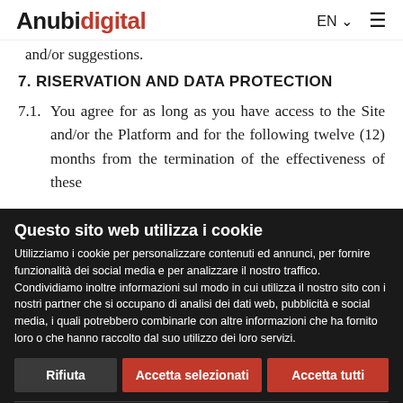Anubidigital — EN
and/or suggestions.
7. RISERVATION AND DATA PROTECTION
7.1. You agree for as long as you have access to the Site and/or the Platform and for the following twelve (12) months from the termination of the effectiveness of these
Questo sito web utilizza i cookie
Utilizziamo i cookie per personalizzare contenuti ed annunci, per fornire funzionalità dei social media e per analizzare il nostro traffico. Condividiamo inoltre informazioni sul modo in cui utilizza il nostro sito con i nostri partner che si occupano di analisi dei dati web, pubblicità e social media, i quali potrebbero combinarle con altre informazioni che ha fornito loro o che hanno raccolto dal suo utilizzo dei loro servizi.
Rifiuta | Accetta selezionati | Accetta tutti
Necessari | Preferenze | Statistiche | Marketing | Mostra dettagli